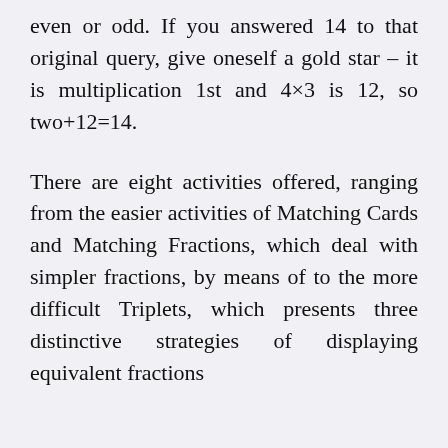even or odd. If you answered 14 to that original query, give oneself a gold star – it is multiplication 1st and 4×3 is 12, so two+12=14.
There are eight activities offered, ranging from the easier activities of Matching Cards and Matching Fractions, which deal with simpler fractions, by means of to the more difficult Triplets, which presents three distinctive strategies of displaying equivalent fractions